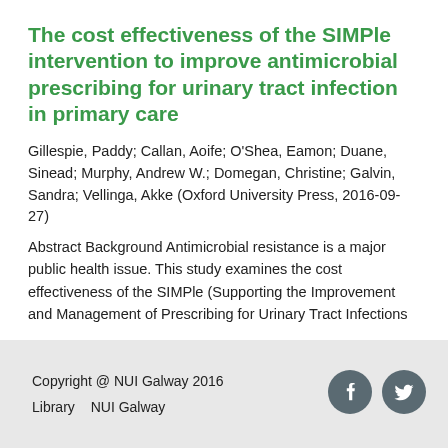The cost effectiveness of the SIMPle intervention to improve antimicrobial prescribing for urinary tract infection in primary care
Gillespie, Paddy; Callan, Aoife; O'Shea, Eamon; Duane, Sinead; Murphy, Andrew W.; Domegan, Christine; Galvin, Sandra; Vellinga, Akke (Oxford University Press, 2016-09-27)
Abstract Background Antimicrobial resistance is a major public health issue. This study examines the cost effectiveness of the SIMPle (Supporting the Improvement and Management of Prescribing for Urinary Tract Infections ...
[Figure (other): Navigation buttons: left arrow (grey) and right arrow (green) in a rounded rectangle box]
Copyright @ NUI Galway 2016
Library   NUI Galway